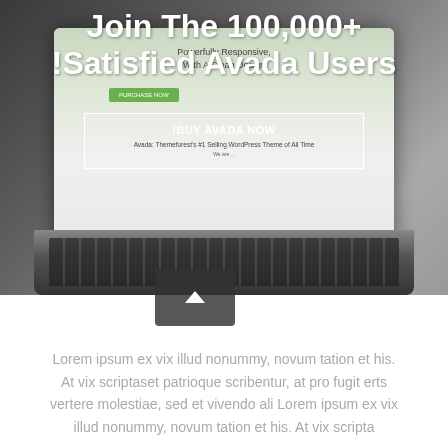[Figure (screenshot): Screenshot of Avada WordPress theme website shown on a laptop computer with dark background. The screen shows 'Powerfully Responsive, With A Clean Design' tagline, a green button, and a white-bordered box with '!BUY AVADA NOW' text. Overlaid large white title text reads 'Join The 100,000+ !Satisfied Avada Users'.]
Join The 100,000+ !Satisfied Avada Users
Lorem ipsum ex vix illud nonummy, novum tation et his. At vix scriptaset patrioque scribentur, at pro fugit erts vertere molestiae, sed et vivendo ali Lorem ipsum ex vix illud nonummy, novum tation et his. At vix scripta